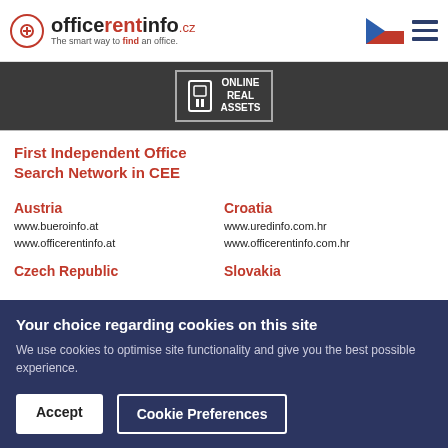[Figure (logo): Officerentinfo.cz logo with tagline 'The smart way to find an office.' and Czech flag with hamburger menu]
[Figure (logo): Online Real Assets badge/logo on dark banner]
First Independent Office Search Network in CEE
Austria
www.bueroinfo.at
www.officerentinfo.at
Croatia
www.uredinfo.com.hr
www.officerentinfo.com.hr
Czech Republic
Slovakia
Your choice regarding cookies on this site
We use cookies to optimise site functionality and give you the best possible experience.
Accept
Cookie Preferences